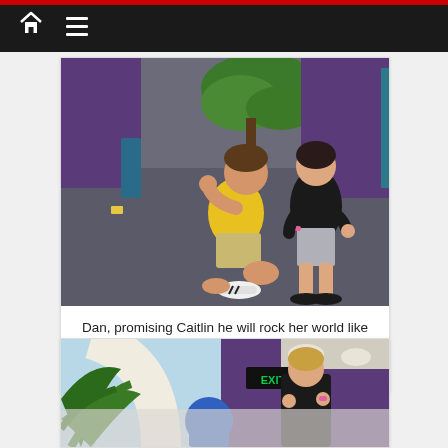Navigation bar with home and menu icons
[Figure (photo): Man kneeling on one knee proposing to a woman in an indoor space with carpet flooring, plants, and purple walls. The man is wearing a yellow t-shirt and khaki shorts; woman is wearing a black top and grey shorts.]
Dan, promising Caitlin he will rock her world like the now closed Sum Of All Thrills.(photo by Brandon Glover)
[Figure (photo): Woman reacting with excitement near an EXIT sign in an indoor venue with purple walls and palm plants. A person in a blue hat is partially visible.]